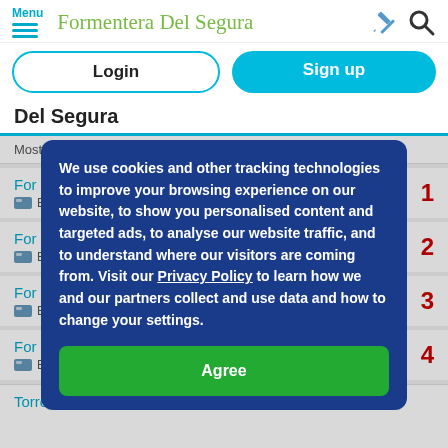Menu | Formentera Del Segura
Login | Sign up
Del Segura
Most re...
For sa... 1 | Buy and sell items in Formentera Del Segura
For sa... 2 | Buy and sell items in Formentera Del Segura
For sa... 3 | Buy and sell items in Formentera Del Segura
For sale: For sale klindo 4 | Buy and sell items in Formentera Del Segura
We use cookies and other tracking technologies to improve your browsing experience on our website, to show you personalised content and targeted ads, to analyse our website traffic, and to understand where our visitors are coming from. Visit our Privacy Policy to learn how we and our partners collect and use data and how to change your settings.
Agree